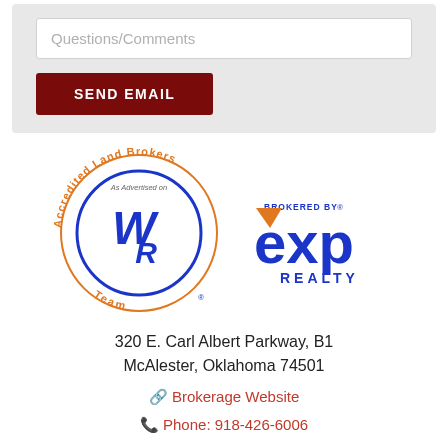[Figure (screenshot): Form section with a Questions/Comments text input field and a dark red SEND EMAIL button, on a light gray background]
[Figure (logo): Accredited Land Brokers Team logo (circular orange text around a blue WR monogram circle) alongside eXp Realty brokered-by logo]
320 E. Carl Albert Parkway, B1
McAlester, Oklahoma 74501
🔗 Brokerage Website
📞 Phone: 918-426-6006